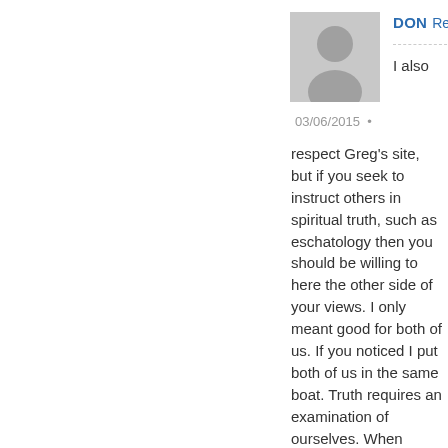[Figure (illustration): Generic user avatar silhouette in gray]
DON Reply
I also
03/06/2015 •
respect Greg's site, but if you seek to instruct others in spiritual truth, such as eschatology then you should be willing to here the other side of your views. I only meant good for both of us. If you noticed I put both of us in the same boat. Truth requires an examination of ourselves. When Christ walked the face of the earth the religious leaders sought to kill him, because of the truth he